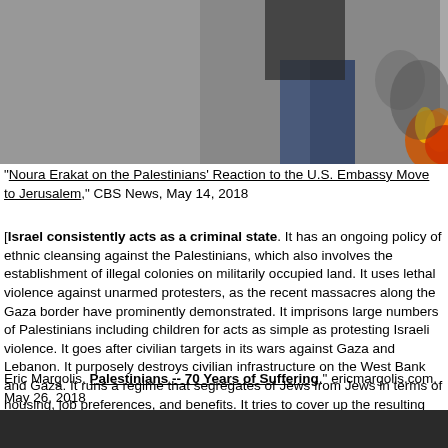[Figure (photo): Photograph showing a person in jeans and a dark jacket standing amid smoke or fire, with flames visible at the right edge of the image.]
"Noura Erakat on the Palestinians' Reaction to the U.S. Embassy Move to Jerusalem," CBS News, May 14, 2018
[Israel consistently acts as a criminal state. It has an ongoing policy of ethnic cleansing against the Palestinians, which also involves the establishment of illegal colonies on militarily occupied land. It uses lethal violence against unarmed protesters, as the recent massacres along the Gaza border have prominently demonstrated. It imprisons large numbers of Palestinians including children for acts as simple as protesting Israeli violence. It goes after civilian targets in its wars against Gaza and Lebanon. It purposely destroys civilian infrastructure on the West Bank and Gaza. It runs a regime that segregates of Jews from Jews in terms of housing, job preferences, and benefits. It tries to cover up the resulting apartheid reality with a thin veil of tokenism.--Lawrence Davidson, In Our Age of State Crimes," counterpunch.org, May 23, 2018]
Eric Margolis, Palestinians -- 70 Years of Suffering," ericmargolis.com, May 26, 2018
[Figure (photo): Dark/black photograph, content largely obscured.]